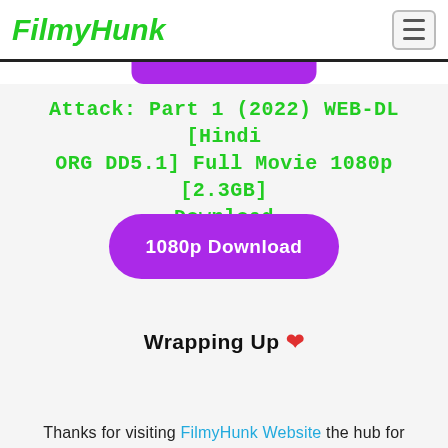FilmyHunk
Attack: Part 1 (2022) WEB-DL [Hindi ORG DD5.1] Full Movie 1080p [2.3GB] Download
[Figure (other): Purple rounded download button labeled '1080p Download']
Wrapping Up ❤
Thanks for visiting FilmyHunk Website the hub for